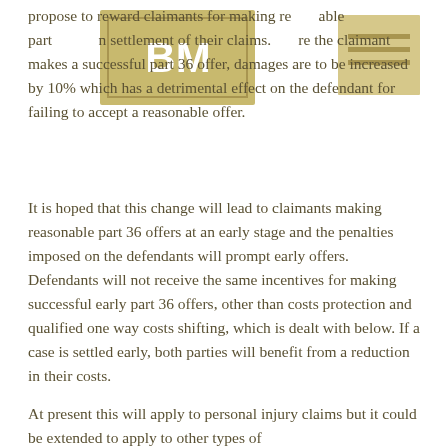propose to reward claimants for making reasonable part [in settlement of their claims. Where the claimant makes a successful part 36 offer, damages are to be increased by 10% which has a detrimental effect on the defendant for failing to accept a reasonable offer.
It is hoped that this change will lead to claimants making reasonable part 36 offers at an early stage and the penalties imposed on the defendants will prompt early offers. Defendants will not receive the same incentives for making successful early part 36 offers, other than costs protection and qualified one way costs shifting, which is dealt with below. If a case is settled early, both parties will benefit from a reduction in their costs.
At present this will apply to personal injury claims but it could be extended to apply to other types of